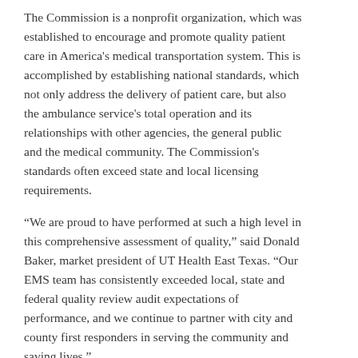The Commission is a nonprofit organization, which was established to encourage and promote quality patient care in America's medical transportation system. This is accomplished by establishing national standards, which not only address the delivery of patient care, but also the ambulance service's total operation and its relationships with other agencies, the general public and the medical community. The Commission's standards often exceed state and local licensing requirements.
“We are proud to have performed at such a high level in this comprehensive assessment of quality,” said Donald Baker, market president of UT Health East Texas. “Our EMS team has consistently exceeded local, state and federal quality review audit expectations of performance, and we continue to partner with city and county first responders in serving the community and saving lives.”
John Smith, CEO at UT Health East Texas EMS and AIR 1, said staff have been key to the successful completion of the accreditation process
“We have done a lot to increase training and equipment improvements that keep patient safety and care as our focus as we answer each call,”